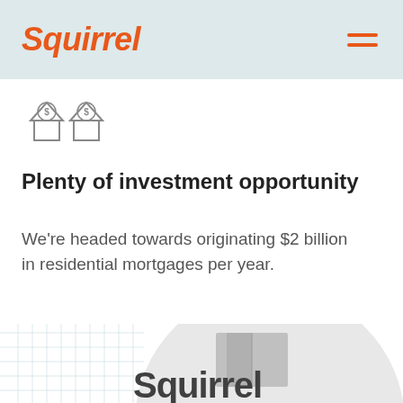Squirrel
[Figure (illustration): Two house icons with dollar signs, outline style illustration]
Plenty of investment opportunity
We're headed towards originating $2 billion in residential mortgages per year.
[Figure (photo): 3D rendered Squirrel sign/logo on a building, black and white photo, with blue grid pattern overlay in bottom left]